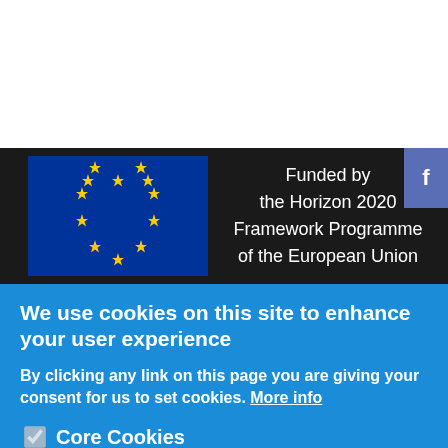[Figure (logo): EU flag and Horizon 2020 funding acknowledgement banner on dark background]
Funded by the Horizon 2020 Framework Programme of the European Union
We use cookies on this site to enhance your user experience
By clicking any link on this page you are giving your consent for us to set cookies. More info
Core Cookies
Cookies Analytics
Save preferences